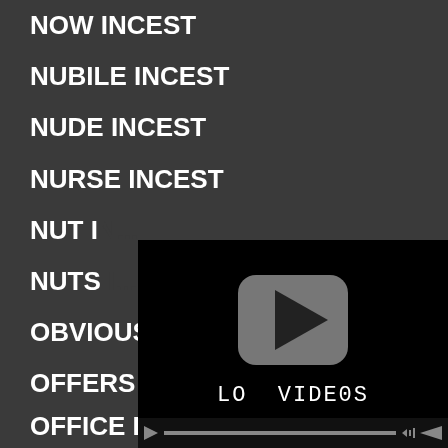NOW INCEST
NUBILE INCEST
NUDE INCEST
NURSE INCEST
NUT IN…
NUTS I…
OBVIOUS…
OFFERS…
OFFICE INCEST
[Figure (screenshot): Video player overlay with play button and progress bar, showing text 'LO VIDEOS']